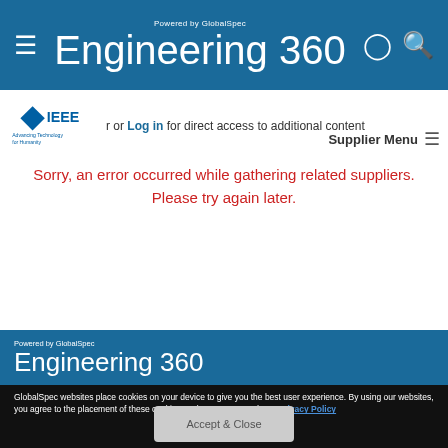Powered by GlobalSpec Engineering 360
Register or Log in for direct access to additional content
Supplier Menu
Sorry, an error occurred while gathering related suppliers. Please try again later.
[Figure (logo): Engineering 360 footer logo powered by GlobalSpec]
GlobalSpec websites place cookies on your device to give you the best user experience. By using our websites, you agree to the placement of these cookies. To learn more, read our Privacy Policy
Accept & Close